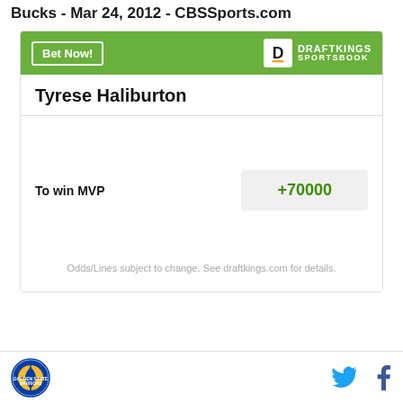Bucks - Mar 24, 2012 - CBSSports.com
[Figure (other): DraftKings Sportsbook betting widget showing Tyrese Haliburton To win MVP odds of +70000, with Bet Now button and DraftKings Sportsbook logo]
Golden State Warriors logo, Twitter icon, Facebook icon